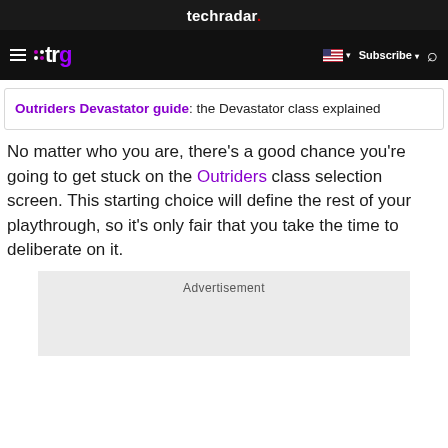techradar.
trg — Subscribe — Search
Outriders Devastator guide: the Devastator class explained
No matter who you are, there's a good chance you're going to get stuck on the Outriders class selection screen. This starting choice will define the rest of your playthrough, so it's only fair that you take the time to deliberate on it.
[Figure (other): Advertisement placeholder box]